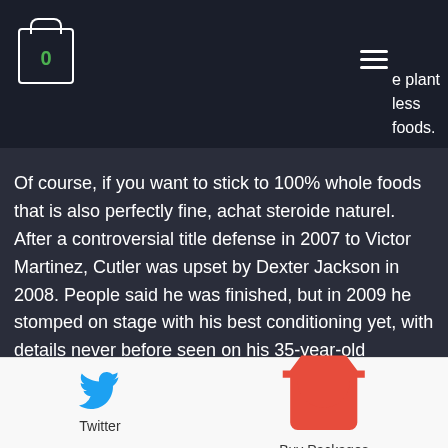e plant less foods.
Of course, if you want to stick to 100% whole foods that is also perfectly fine, achat steroide naturel. After a controversial title defense in 2007 to Victor Martinez, Cutler was upset by Dexter Jackson in 2008. People said he was finished, but in 2009 he stomped on stage with his best conditioning yet, with details never before seen on his 35-year-old physique, achat steroide dianabol legal steroid.com. If you are looking to boost test and cut fat you might want to augment your test booster with fish oil tablets. In a nutshell : the only thing you should avoid stacking with a test booster is another test booster or ZMA, achat steroide anabolisant
Twitter | Buy Packages